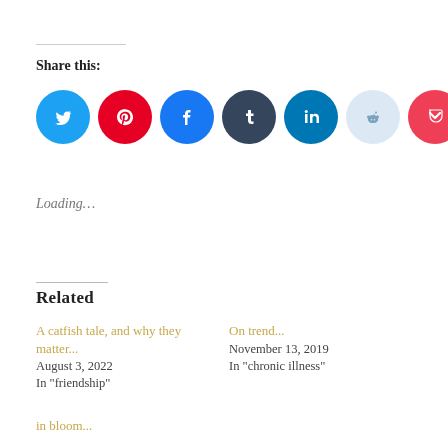Share this:
[Figure (infographic): Row of social media share icons: Twitter (blue), Pinterest (red), Facebook (blue), Tumblr (dark blue), LinkedIn (blue), Reddit (light blue), Pocket (red/pink), and a More button]
Loading...
Related
A catfish tale, and why they matter...
August 3, 2022
In "friendship"
On trend...
November 13, 2019
In "chronic illness"
in bloom...